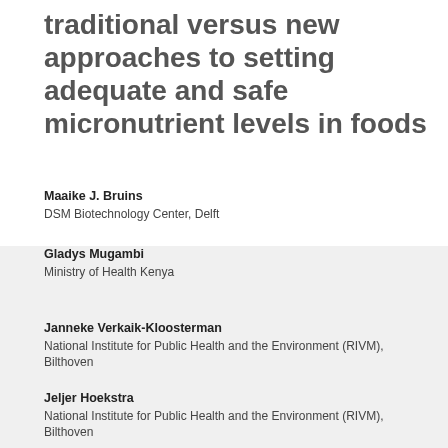traditional versus new approaches to setting adequate and safe micronutrient levels in foods
Maaike J. Bruins
DSM Biotechnology Center, Delft
Gladys Mugambi
Ministry of Health Kenya
Janneke Verkaik-Kloosterman
National Institute for Public Health and the Environment (RIVM), Bilthoven
Jeljer Hoekstra
National Institute for Public Health and the Environment (RIVM), Bilthoven